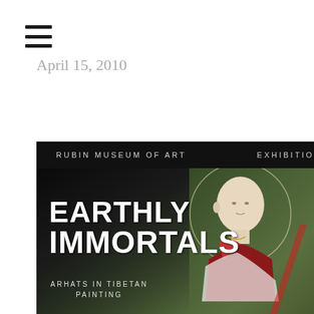≡
April 15, 2010
[Figure (photo): Cover of Rubin Museum of Art exhibition catalog titled 'Earthly Immortals: Arhats in Tibetan Painting'. Shows a Tibetan painting of a bald monk figure with a golden halo, wearing red robes, against a green background. Dark overlay on left side with white exhibition title text. Top bar reads 'RUBIN MUSEUM OF ART  EXHIBITION'.]